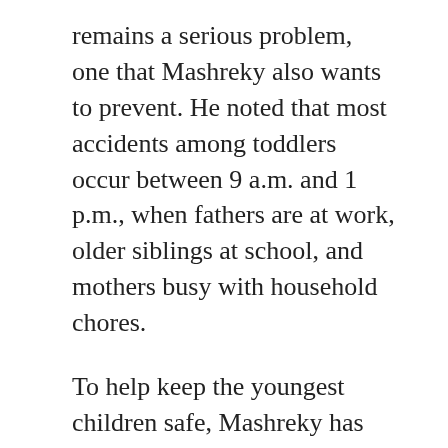remains a serious problem, one that Mashreky also wants to prevent. He noted that most accidents among toddlers occur between 9 a.m. and 1 p.m., when fathers are at work, older siblings at school, and mothers busy with household chores.
To help keep the youngest children safe, Mashreky has also worked to establish child development centers in rural areas for children 18 months to 4 years old. CIPRB provides a five-day training session for mothers in the community to teach groups of 15 to 20 children in their homes. The centers are called "anchals"- named for the end-piece of a sari that can cover or protect a baby.
At an anchal in Monohardi, Hasna Akter led the children in a dance. Four illiterate mothers...